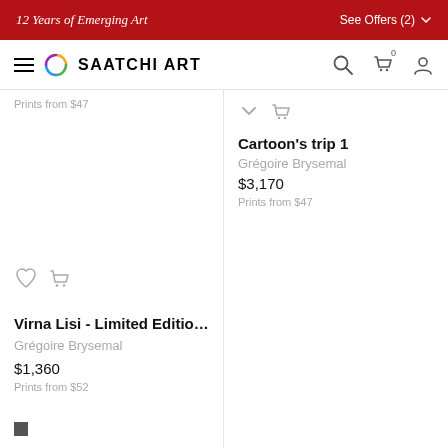12 Years of Emerging Art   See Offers (2)
[Figure (logo): Saatchi Art logo with navigation bar including hamburger menu, circular multicolor logo, SAATCHI ART brand name, search icon, cart icon with 0 badge, and user icon]
Prints from $47
[Figure (other): Partial product image area for right column product]
Cartoon's trip 1
Grégoire Brysemal
$3,170
Prints from $47
[Figure (other): Heart (wishlist) and cart icons for left lower product]
Virna Lisi - Limited Editio…
Grégoire Brysemal
$1,360
Prints from $52